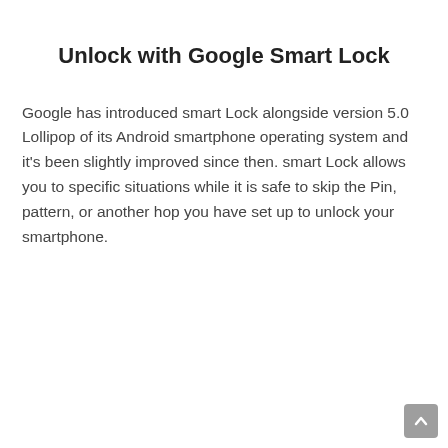Unlock with Google Smart Lock
Google has introduced smart Lock alongside version 5.0 Lollipop of its Android smartphone operating system and it’s been slightly improved since then. smart Lock allows you to specific situations while it is safe to skip the Pin, pattern, or another hop you have set up to unlock your smartphone.